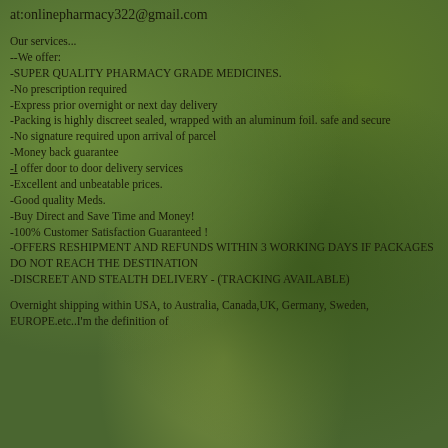at:onlinepharmacy322@gmail.com
Our services...
--We offer:
-SUPER QUALITY PHARMACY GRADE MEDICINES.
-No prescription required
-Express prior overnight or next day delivery
-Packing is highly discreet sealed, wrapped with an aluminum foil. safe and secure
-No signature required upon arrival of parcel
-Money back guarantee
-I offer door to door delivery services
-Excellent and unbeatable prices.
-Good quality Meds.
-Buy Direct and Save Time and Money!
-100% Customer Satisfaction Guaranteed !
-OFFERS RESHIPMENT AND REFUNDS WITHIN 3 WORKING DAYS IF PACKAGES DO NOT REACH THE DESTINATION
-DISCREET AND STEALTH DELIVERY - (TRACKING AVAILABLE)
Overnight shipping within USA, to Australia, Canada,UK, Germany, Sweden, EUROPE.etc..I'm the definition of